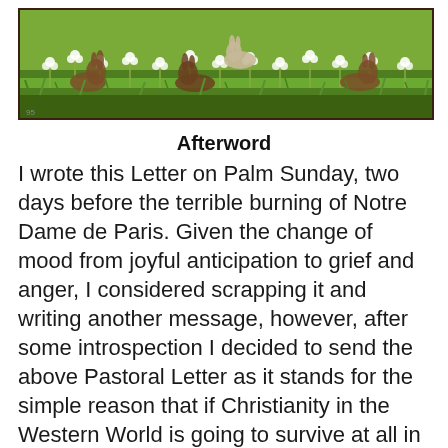[Figure (illustration): A decorative vintage illustration showing rabbits or hares among white flowers (daffodils/narcissus) and green grass, with a wooden frame border, in an Easter/spring theme.]
Afterword
I wrote this Letter on Palm Sunday, two days before the terrible burning of Notre Dame de Paris. Given the change of mood from joyful anticipation to grief and anger, I considered scrapping it and writing another message, however, after some introspection I decided to send the above Pastoral Letter as it stands for the simple reason that if Christianity in the Western World is going to survive at all in our post-Christian and steadily islamised society, it will be by means of